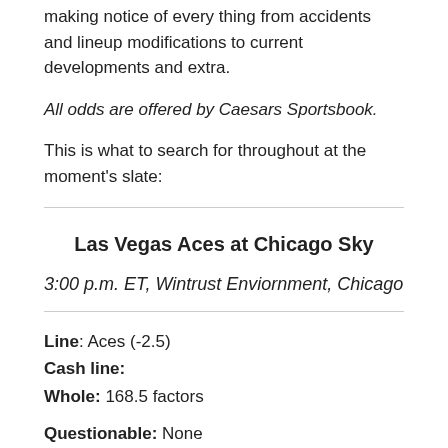making notice of every thing from accidents and lineup modifications to current developments and extra.
All odds are offered by Caesars Sportsbook.
This is what to search for throughout at the moment's slate:
Las Vegas Aces at Chicago Sky
3:00 p.m. ET, Wintrust Enviornment, Chicago
Line: Aces (-2.5)
Cash line:
Whole: 168.5 factors
Questionable: None